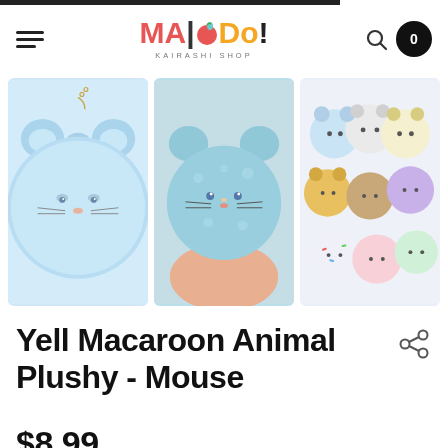MAIDO! KAIRASHI SHOP
[Figure (photo): Three photos of a light blue mouse-shaped macaron plush toy. Left: full view with chain. Center: held in hand showing fluffy texture. Right: group of various colored animal macaroon plushies.]
Yell Macaroon Animal Plushy - Mouse
$8.99